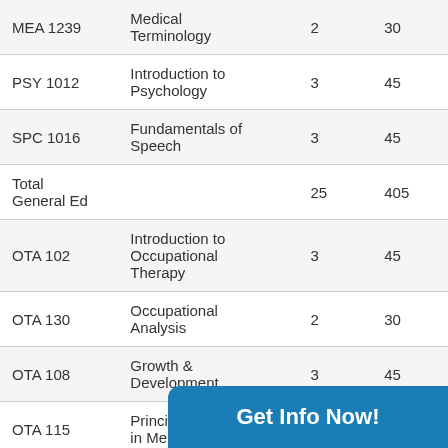| Course | Title | Credits | Hours |
| --- | --- | --- | --- |
| MEA 1239 | Medical Terminology | 2 | 30 |
| PSY 1012 | Introduction to Psychology | 3 | 45 |
| SPC 1016 | Fundamentals of Speech | 3 | 45 |
| Total General Ed |  | 25 | 405 |
| OTA 102 | Introduction to Occupational Therapy | 3 | 45 |
| OTA 130 | Occupational Analysis | 2 | 30 |
| OTA 108 | Growth & Development | 3 | 45 |
| OTA 115 | Principles of OT in Mental Health | 3 | 60 |
| OTA 125 | Ki... |  |  |
|  | Fu... |  |  |
Get Info Now!